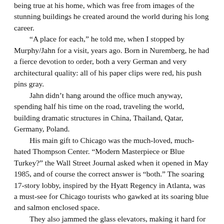being true at his home, which was free from images of the stunning buildings he created around the world during his long career.

“A place for each,” he told me, when I stopped by Murphy/Jahn for a visit, years ago. Born in Nuremberg, he had a fierce devotion to order, both a very German and very architectural quality: all of his paper clips were red, his push pins gray.

Jahn didn’t hang around the office much anyway, spending half his time on the road, traveling the world, building dramatic structures in China, Thailand, Qatar, Germany, Poland.

His main gift to Chicago was the much-loved, much-hated Thompson Center. “Modern Masterpiece or Blue Turkey?” the Wall Street Journal asked when it opened in May 1985, and of course the correct answer is “both.” The soaring 17-story lobby, inspired by the Hyatt Regency in Atlanta, was a must-see for Chicago tourists who gawked at its soaring blue and salmon enclosed space.

They also jammed the glass elevators, making it hard for state workers to get to their offices, one of a number of design flaws that made working there a challenge, particularly the greenhouse effect of that curved whale of glass that had sweltering state employees putting fans on their desks and cowering under umbrellas to protect them from the sun.